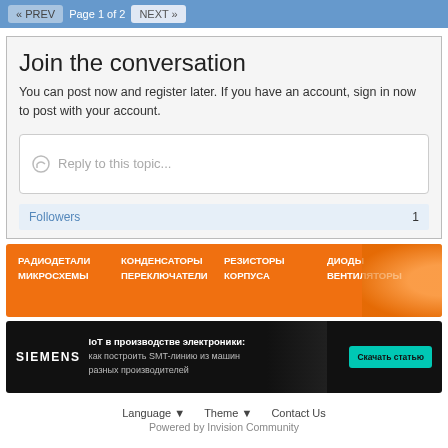« PREV  Page 1 of 2  NEXT »
Join the conversation
You can post now and register later. If you have an account, sign in now to post with your account.
Reply to this topic...
Followers  1
[Figure (infographic): Orange advertisement banner with Russian text: РАДИОДЕТАЛИ МИКРОСХЕМЫ / КОНДЕНСАТОРЫ ПЕРЕКЛЮЧАТЕЛИ / РЕЗИСТОРЫ КОРПУСА / ДИОДЫ ВЕНТИЛЯТОРЫ]
[Figure (infographic): Siemens dark advertisement banner: IoT в производстве электроники: как построить SMT-линию из машин разных производителей, with a teal button 'Скачать статью']
Language ▼  Theme ▼  Contact Us
Powered by Invision Community